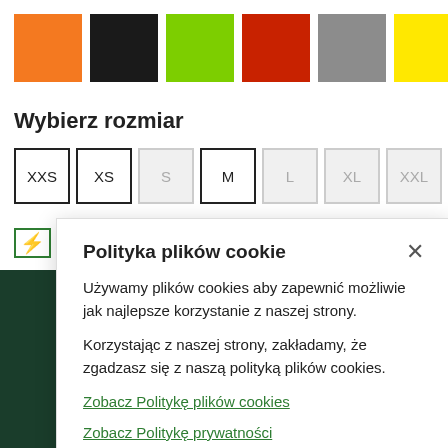[Figure (illustration): Six color swatches in a row: orange, black, lime green, red/orange, gray, yellow]
Wybierz rozmiar
[Figure (illustration): Size selector buttons: XXS (active), XS (active), S (disabled), M (active), L (disabled), XL (disabled), XXL (disabled)]
[Figure (screenshot): Dark green banner overlay at bottom with X close button and text 'on our US site', green button, and 'kliknij tutaj' link]
Polityka plików cookie
Używamy plików cookies aby zapewnić możliwie jak najlepsze korzystanie z naszej strony.
Korzystając z naszej strony, zakładamy, że zgadzasz się z naszą polityką plików cookies.
Zobacz Politykę plików cookies
Zobacz Politykę prywatności
Zgadzam się